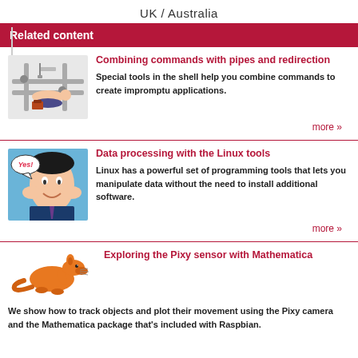UK / Australia
Related content
[Figure (illustration): Comic-style illustration of a person lying back surrounded by industrial pipes and machinery]
Combining commands with pipes and redirection
Special tools in the shell help you combine commands to create impromptu applications.
more »
[Figure (illustration): Pop-art style comic illustration of a man saying 'Yes!' with hands on face, excited expression]
Data processing with the Linux tools
Linux has a powerful set of programming tools that lets you manipulate data without the need to install additional software.
more »
[Figure (illustration): Cartoon illustration of an orange kangaroo]
Exploring the Pixy sensor with Mathematica
We show how to track objects and plot their movement using the Pixy camera and the Mathematica package that's included with Raspbian.